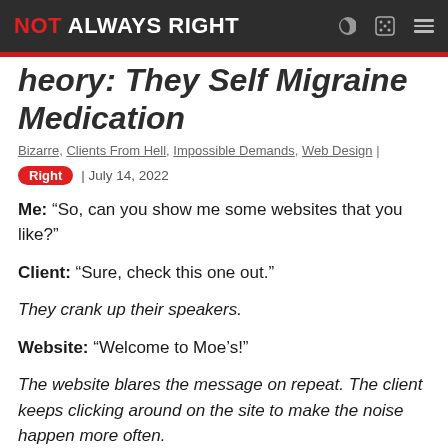NOT ALWAYS RIGHT
heory: They Self Migraine Medication
Bizarre, Clients From Hell, Impossible Demands, Web Design | Right | July 14, 2022
Me: “So, can you show me some websites that you like?”
Client: “Sure, check this one out.”
They crank up their speakers.
Website: “Welcome to Moe’s!”
The website blares the message on repeat. The client keeps clicking around on the site to make the noise happen more often.